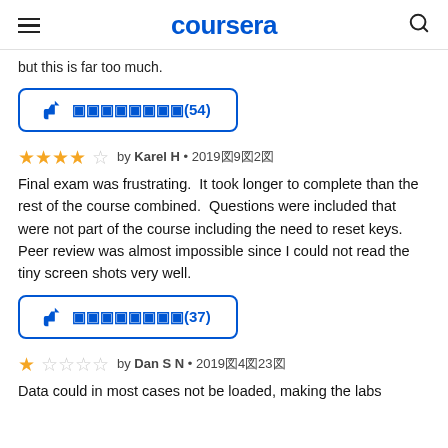coursera
but this is far too much.
[Figure (other): Helpful button with thumbs up icon and squares text showing (54)]
★★★★☆ by Karel H • 2019年9月2日
Final exam was frustrating.  It took longer to complete than the rest of the course combined.  Questions were included that were not part of the course including the need to reset keys.  Peer review was almost impossible since I could not read the tiny screen shots very well.
[Figure (other): Helpful button with thumbs up icon and squares text showing (37)]
★☆☆☆☆ by Dan S N • 2019年4月23日
Data could in most cases not be loaded, making the labs